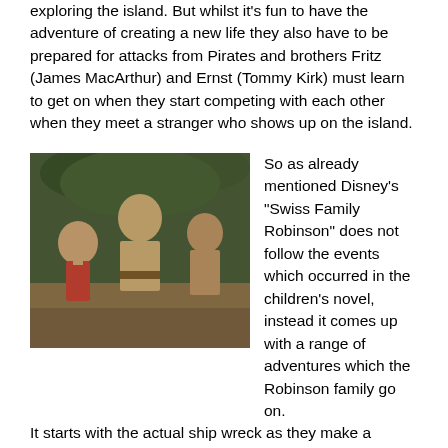exploring the island. But whilst it's fun to have the adventure of creating a new life they also have to be prepared for attacks from Pirates and brothers Fritz (James MacArthur) and Ernst (Tommy Kirk) must learn to get on when they start competing with each other when they meet a stranger who shows up on the island.
[Figure (photo): A still from the movie showing three young people on the island — two shirtless young men and a younger child, set against a natural outdoor background with trees.]
So as already mentioned Disney's "Swiss Family Robinson" does not follow the events which occurred in the children's novel, instead it comes up with a range of adventures which the Robinson family go on. It starts with the actual ship wreck as they make a wonderfully imaginative adhoc raft from barrels sawn in half as they try to make their way to a nearby Island. And the adventures continue from there on in from their first night on the Island through to Mr. Robinson and his two eldest boys building the most amazing home in the trees, this is not a tree house it's a suite of rooms, through to the exploration of the island by Ernst and Fritz.